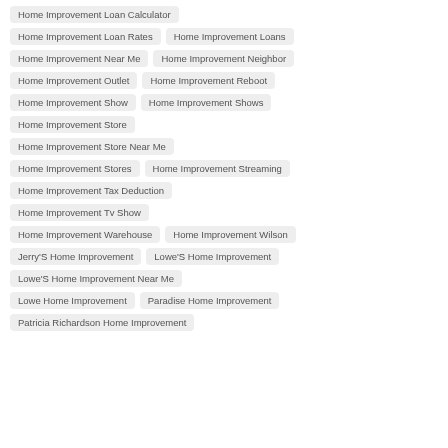Home Improvement Loan Calculator
Home Improvement Loan Rates
Home Improvement Loans
Home Improvement Near Me
Home Improvement Neighbor
Home Improvement Outlet
Home Improvement Reboot
Home Improvement Show
Home Improvement Shows
Home Improvement Store
Home Improvement Store Near Me
Home Improvement Stores
Home Improvement Streaming
Home Improvement Tax Deduction
Home Improvement Tv Show
Home Improvement Warehouse
Home Improvement Wilson
Jerry'S Home Improvement
Lowe'S Home Improvement
Lowe'S Home Improvement Near Me
Lowe Home Improvement
Paradise Home Improvement
Patricia Richardson Home Improvement